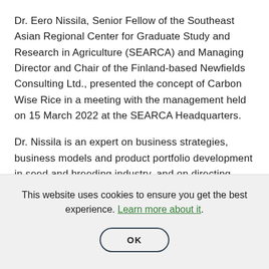Dr. Eero Nissila, Senior Fellow of the Southeast Asian Regional Center for Graduate Study and Research in Agriculture (SEARCA) and Managing Director and Chair of the Finland-based Newfields Consulting Ltd., presented the concept of Carbon Wise Rice in a meeting with the management held on 15 March 2022 at the SEARCA Headquarters.
Dr. Nissila is an expert on business strategies, business models and product portfolio development in seed and breeding industry, and on directing research and
This website uses cookies to ensure you get the best experience. Learn more about it.